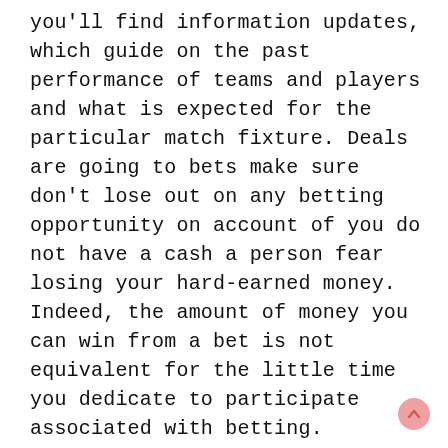you'll find information updates, which guide on the past performance of teams and players and what is expected for the particular match fixture. Deals are going to bets make sure don't lose out on any betting opportunity on account of you do not have a cash a person fear losing your hard-earned money. Indeed, the amount of money you can win from a bet is not equivalent for the little time you dedicate to participate associated with betting.